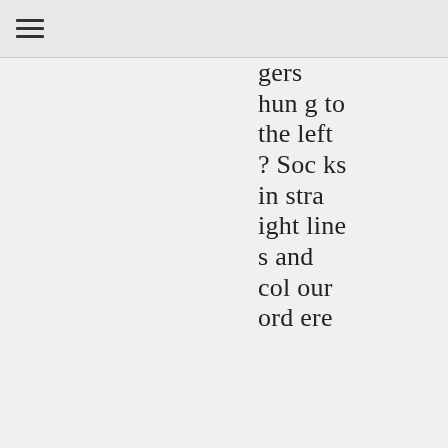☰
gers hung to the left? Socks in straight lines and colour ordere